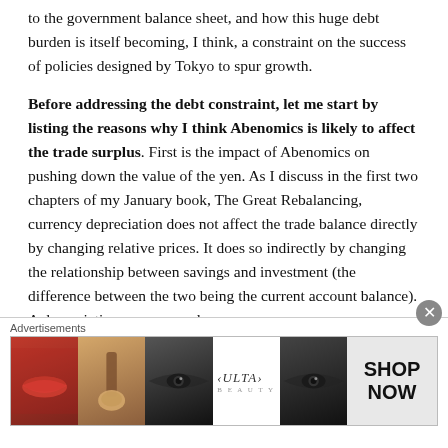to the government balance sheet, and how this huge debt burden is itself becoming, I think, a constraint on the success of policies designed by Tokyo to spur growth.
Before addressing the debt constraint, let me start by listing the reasons why I think Abenomics is likely to affect the trade surplus. First is the impact of Abenomics on pushing down the value of the yen. As I discuss in the first two chapters of my January book, The Great Rebalancing, currency depreciation does not affect the trade balance directly by changing relative prices. It does so indirectly by changing the relationship between savings and investment (the difference between the two being the current account balance). A depreciating currency reduces
Advertisements
[Figure (photo): Advertisement banner for ULTA beauty products showing close-up images of lips, makeup brush, eyes, ULTA logo, and a Shop Now call-to-action button]